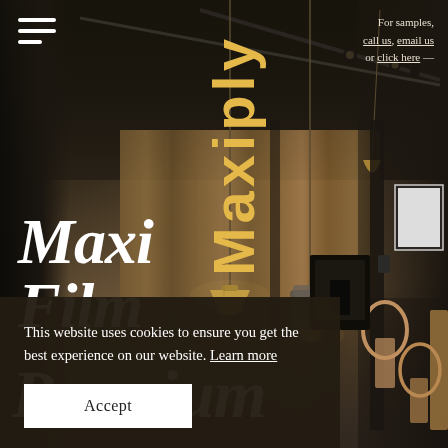[Figure (photo): Interior of a modern home/restaurant with dark ceiling, wood-panelled walls, hanging brass pendant lights, dining chairs and table, and a living area in the background. The Maxiply brand logo is overlaid vertically in gold text.]
For samples, call us, email us or click here —
Maxi Film
Premium
This website uses cookies to ensure you get the best experience on our website. Learn more
Accept